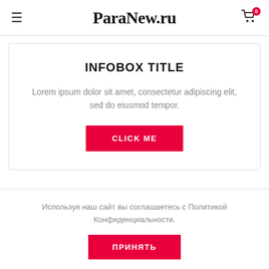ParaNew.ru
INFOBOX TITLE
Lorem ipsum dolor sit amet, consectetur adipiscing elit, sed do eiusmod tempor.
CLICK ME
Используя наш сайт вы соглашаетесь с Политикой Конфиденциальности.
ПРИНЯТЬ